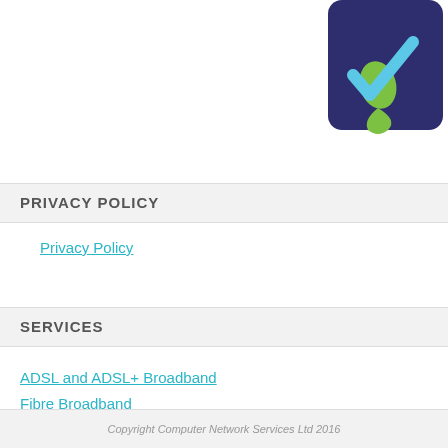[Figure (logo): Company logo with dark navy blue rounded square background, green teardrop shape and blue checkmark tick icon]
PRIVACY POLICY
Privacy Policy
SERVICES
ADSL and ADSL+ Broadband
Fibre Broadband
Office 365
Business Phone Systems - 3CX
IT Support
Data Backup
Copyright Computer Network Services Ltd 2016